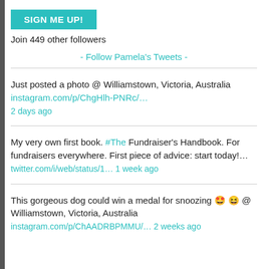[Figure (other): Teal 'SIGN ME UP!' button]
Join 449 other followers
- Follow Pamela's Tweets -
Just posted a photo @ Williamstown, Victoria, Australia instagram.com/p/ChgHlh-PNRc/... 2 days ago
My very own first book. #The Fundraiser's Handbook. For fundraisers everywhere. First piece of advice: start today!... twitter.com/i/web/status/1... 1 week ago
This gorgeous dog could win a medal for snoozing 🤩😆 @ Williamstown, Victoria, Australia instagram.com/p/ChAADRBPMMU/... 2 weeks ago